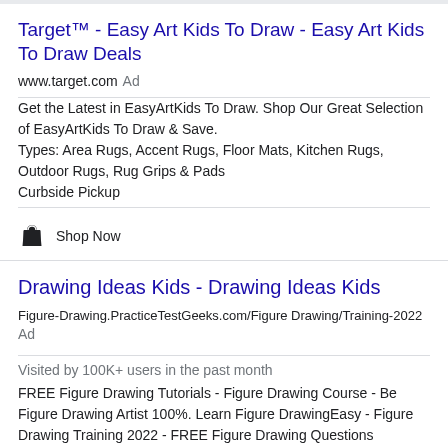Target™ - Easy Art Kids To Draw - Easy Art Kids To Draw Deals
www.target.com Ad
Get the Latest in EasyArtKids To Draw. Shop Our Great Selection of EasyArtKids To Draw & Save.
Types: Area Rugs, Accent Rugs, Floor Mats, Kitchen Rugs, Outdoor Rugs, Rug Grips & Pads
Curbside Pickup
Shop Now
Drawing Ideas Kids - Drawing Ideas Kids
Figure-Drawing.PracticeTestGeeks.com/Figure Drawing/Training-2022 Ad
Visited by 100K+ users in the past month
FREE Figure Drawing Tutorials - Figure Drawing Course - Be Figure Drawing Artist 100%. Learn Figure DrawingEasy - Figure Drawing Training 2022 - FREE Figure Drawing Questions